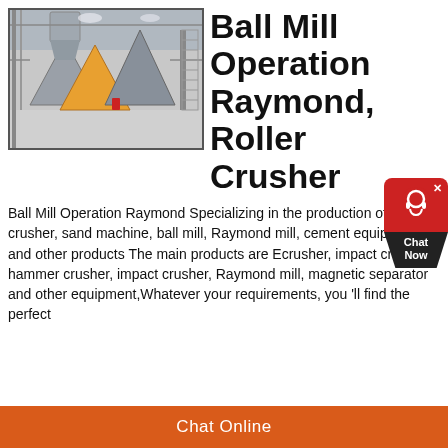[Figure (photo): Industrial building interior showing large conical/pyramid-shaped mill or crusher equipment with structural steel framework and high ceilings]
Ball Mill Operation Raymond, Roller Crusher
Ball Mill Operation Raymond Specializing in the production of jaw crusher, sand machine, ball mill, Raymond mill, cement equipment and other products The main products are Ecrusher, impact crusher, hammer crusher, impact crusher, Raymond mill, magnetic separator and other equipment,Whatever your requirements, you 'll find the perfect
[Figure (other): Chat Now widget with red circular icon and dark pentagon shape below]
Chat Online